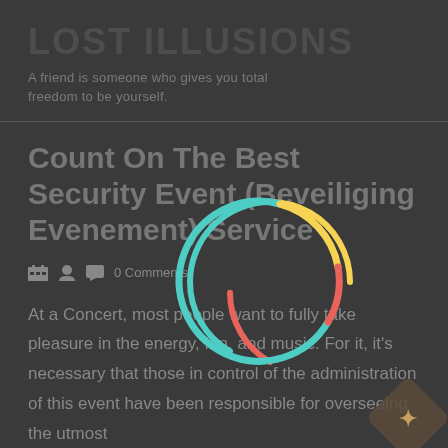LOST ILLUSIONS
A friend is someone who gives you total freedom to be yourself.
Count On The Best Security Event (Beveiliging Evenement) Service
0 Comments
At a Concert, most people want to fully take pleasure in the energy, fun, and music. For it, it's necessary that those in control of the administration of this event have been responsible for overseeing the utmost...